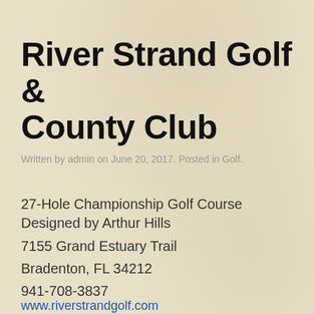River Strand Golf & County Club
Written by admin on June 20, 2017. Posted in Golf.
27-Hole Championship Golf Course Designed by Arthur Hills
7155 Grand Estuary Trail
Bradenton, FL 34212
941-708-3837
www.riverstrandgolf.com